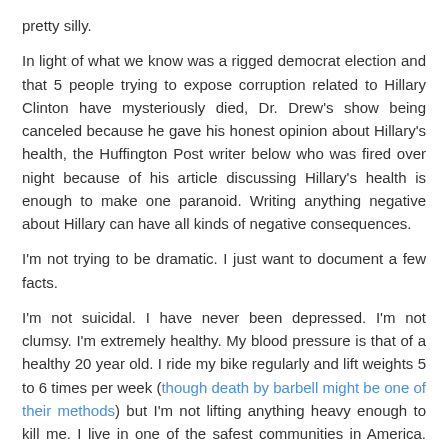pretty silly.
In light of what we know was a rigged democrat election and that 5 people trying to expose corruption related to Hillary Clinton have mysteriously died, Dr. Drew's show being canceled because he gave his honest opinion about Hillary's health, the Huffington Post writer below who was fired over night because of his article discussing Hillary's health is enough to make one paranoid. Writing anything negative about Hillary can have all kinds of negative consequences.
I'm not trying to be dramatic. I just want to document a few facts.
I'm not suicidal. I have never been depressed. I'm not clumsy. I'm extremely healthy. My blood pressure is that of a healthy 20 year old. I ride my bike regularly and lift weights 5 to 6 times per week (though death by barbell might be one of their methods) but I'm not lifting anything heavy enough to kill me. I live in one of the safest communities in America. You can leave your door unlocked and nothing will happen here though I don't recommend it. I haven't had a car wreck in over 25 years. There is absolutely no reason why I should